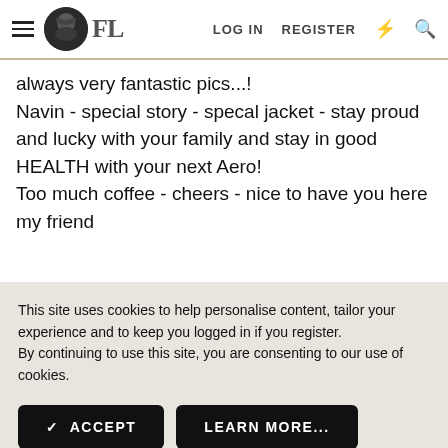FL  LOG IN  REGISTER
always very fantastic pics...!
Navin - special story - specal jacket - stay proud and lucky with your family and stay in good HEALTH with your next Aero!
Too much coffee - cheers - nice to have you here my friend
This site uses cookies to help personalise content, tailor your experience and to keep you logged in if you register.
By continuing to use this site, you are consenting to our use of cookies.
✓ ACCEPT   LEARN MORE...
there!
Aether - like your style and always great pics - more . . . !
deluxestyling - thank you for your nice comments - show more of your jackets my friend - open your treasure box . !